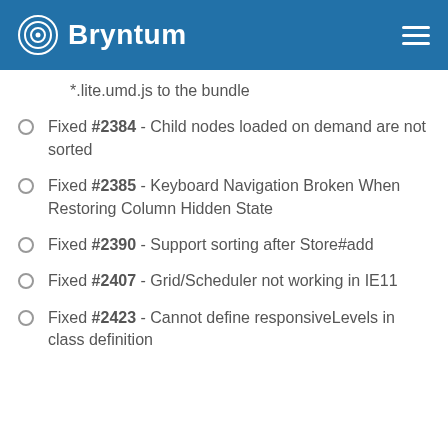Bryntum
*.lite.umd.js to the bundle
Fixed #2384 - Child nodes loaded on demand are not sorted
Fixed #2385 - Keyboard Navigation Broken When Restoring Column Hidden State
Fixed #2390 - Support sorting after Store#add
Fixed #2407 - Grid/Scheduler not working in IE11
Fixed #2423 - Cannot define responsiveLevels in class definition